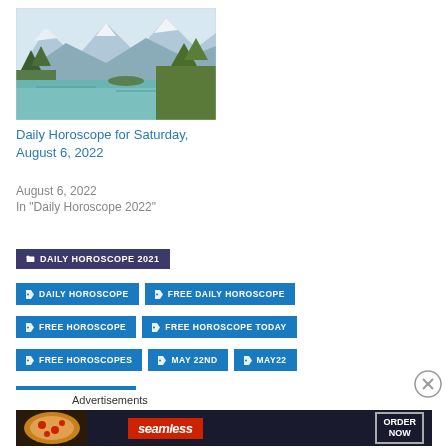[Figure (photo): Mountain lake landscape with snow-capped peaks, trees, and turquoise water]
Daily Horoscope for Saturday, August 6, 2022
August 6, 2022
In "Daily Horoscope 2022"
DAILY HOROSCOPE 2021
DAILY HOROSCOPE
FREE DAILY HOROSCOPE
FREE HOROSCOPE
FREE HOROSCOPE TODAY
FREE HOROSCOPES
MAY 22ND
MAY22
Advertisements